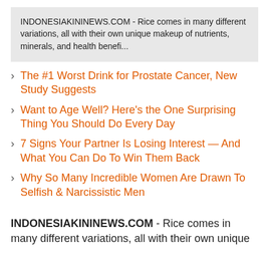INDONESIAKININEWS.COM - Rice comes in many different variations, all with their own unique makeup of nutrients, minerals, and health benefi...
The #1 Worst Drink for Prostate Cancer, New Study Suggests
Want to Age Well? Here's the One Surprising Thing You Should Do Every Day
7 Signs Your Partner Is Losing Interest — And What You Can Do To Win Them Back
Why So Many Incredible Women Are Drawn To Selfish & Narcissistic Men
INDONESIAKININEWS.COM - Rice comes in many different variations, all with their own unique